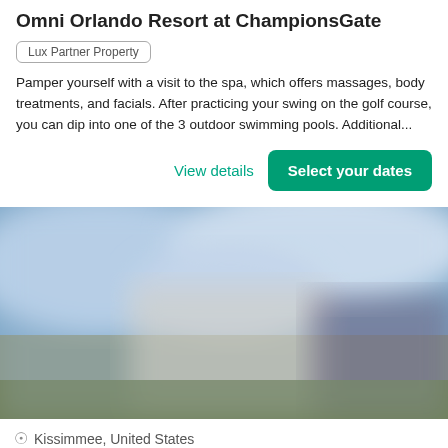Omni Orlando Resort at ChampionsGate
Lux Partner Property
Pamper yourself with a visit to the spa, which offers massages, body treatments, and facials. After practicing your swing on the golf course, you can dip into one of the 3 outdoor swimming pools. Additional...
View details
Select your dates
[Figure (photo): Blurred exterior photo of a resort building with blue sky background]
Kissimmee, United States